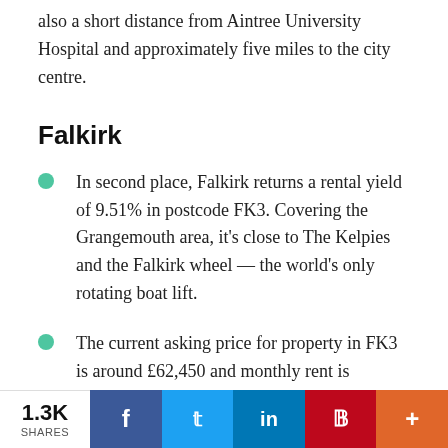also a short distance from Aintree University Hospital and approximately five miles to the city centre.
Falkirk
In second place, Falkirk returns a rental yield of 9.51% in postcode FK3. Covering the Grangemouth area, it's close to The Kelpies and the Falkirk wheel — the world's only rotating boat lift.
The current asking price for property in FK3 is around £62,450 and monthly rent is approximately £495.
1.3K SHARES  f  t  in  P  +